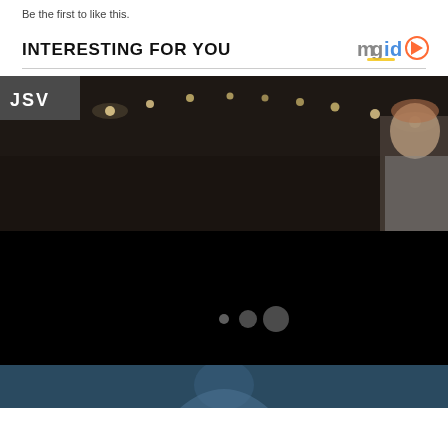Be the first to like this.
INTERESTING FOR YOU
[Figure (logo): mgid logo with play button icon]
[Figure (photo): Dark interior photo showing ceiling lights and partial view of a man on the right side, with JSV badge overlay in top left corner and black loading overlay with three dots in center]
[Figure (photo): Partial bottom photo showing a person, mostly cropped, blue/teal tones]